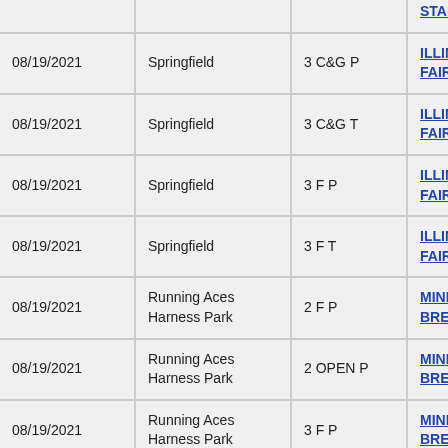| Date | Venue | Class | Race |
| --- | --- | --- | --- |
|  |  |  | STAKE Final |
| 08/19/2021 | Springfield | 3 C&G P | ILLINOIS STATE FAIR STAKE Final |
| 08/19/2021 | Springfield | 3 C&G T | ILLINOIS STATE FAIR STAKE Final |
| 08/19/2021 | Springfield | 3 F P | ILLINOIS STATE FAIR STAKE Final |
| 08/19/2021 | Springfield | 3 F T | ILLINOIS STATE FAIR STAKE Final |
| 08/19/2021 | Running Aces Harness Park | 2 F P | MINNESOTA BRED S Leg |
| 08/19/2021 | Running Aces Harness Park | 2 OPEN P | MINNESOTA BRED S Leg |
| 08/19/2021 | Running Aces Harness Park | 3 F P | MINNESOTA BRED S Leg |
| 08/19/2021 | Running Aces Harness Park | 3 OPEN P | MINNESOTA BRED S Leg |
| 08/19/2021 | Skowhegan | 3 F P | MAINE BREEDERS S |